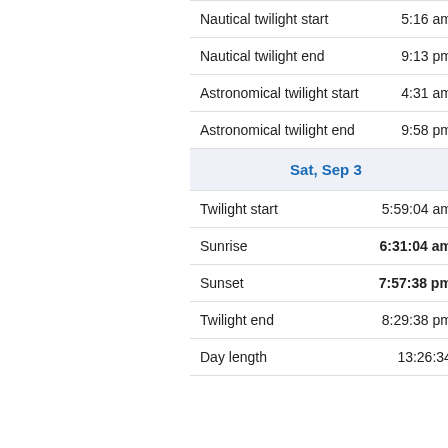| Event | Time |
| --- | --- |
| Nautical twilight start | 5:16 am |
| Nautical twilight end | 9:13 pm |
| Astronomical twilight start | 4:31 am |
| Astronomical twilight end | 9:58 pm |
| Sat, Sep 3 |  |
| Twilight start | 5:59:04 am |
| Sunrise | 6:31:04 am |
| Sunset | 7:57:38 pm |
| Twilight end | 8:29:38 pm |
| Day length | 13:26:34 |